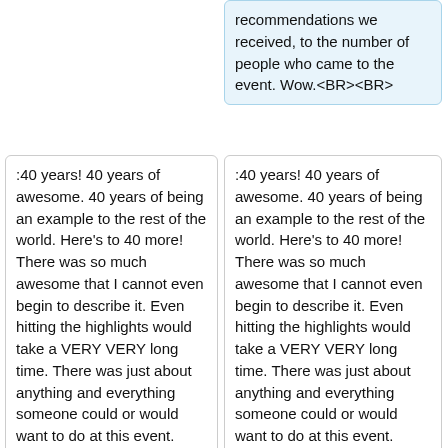recommendations we received, to the number of people who came to the event. Wow.<BR><BR>
:40 years! 40 years of awesome. 40 years of being an example to the rest of the world. Here's to 40 more! There was so much awesome that I cannot even begin to describe it. Even hitting the highlights would take a VERY VERY long time. There was just about anything and everything someone could or would want to do at this event. Equestrian? Yup. Herbalist garden? Yuppers. Dancing? Of course. Hafla? You betcha! Feast to die for? Oh my lawd, yes. Archery, melees, tournaments, youth tournaments, siege, merchants, taverns, etc. etc. etc.? You bet your sweet bippie! Calontir? Yeah! Multiple Courts to account for the [http://heraldry.ansteorra.org/OP/op
:40 years! 40 years of awesome. 40 years of being an example to the rest of the world. Here's to 40 more! There was so much awesome that I cannot even begin to describe it. Even hitting the highlights would take a VERY VERY long time. There was just about anything and everything someone could or would want to do at this event. Equestrian? Yup. Herbalist garden? Yuppers. Dancing? Of course. Hafla? You betcha! Feast to die for? Oh my lawd, yes. Archery, melees, tournaments, youth tournaments, siege, merchants, taverns, etc. etc. etc.? You bet your sweet bippie! Calontir? Yeah! Multiple Courts to account for the [http://heraldry.ansteorra.org/OP/op-events.php?&submit=List&id=633